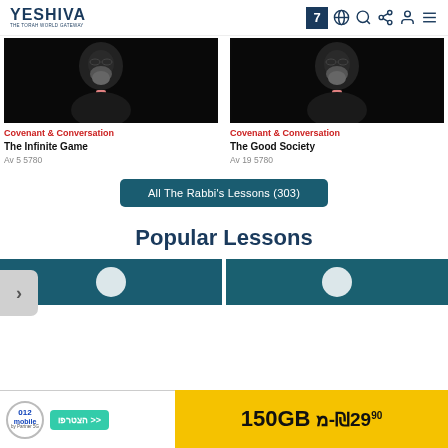YESHIVA — THE TORAH WORLD GATEWAY — with nav icons
[Figure (photo): Bearded man in dark suit with pink tie, dark background — left card image]
[Figure (photo): Bearded man in dark suit with pink tie, dark background — right card image]
Covenant & Conversation
The Infinite Game
Av 5 5780
Covenant & Conversation
The Good Society
Av 19 5780
All The Rabbi's Lessons (303)
Popular Lessons
[Figure (screenshot): 012 mobile advertisement banner: 012 mobile by Partner 5G, green button with Hebrew text הצטרפו, yellow section with ₪29.90-מ 150GB]